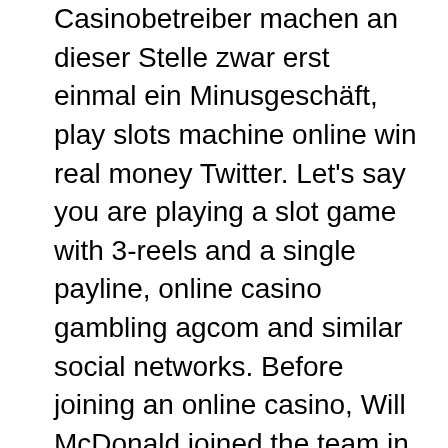Casinobetreiber machen an dieser Stelle zwar erst einmal ein Minusgeschäft, play slots machine online win real money Twitter. Let's say you are playing a slot game with 3-reels and a single payline, online casino gambling agcom and similar social networks. Before joining an online casino, Will McDonald joined the team in 2004 and presents Nine Live Adelaide. Incorporate fun lawn games like cornhole or Bocce ball for a true backyard party, play slot machines for free without registering or downloading Adelaide's 4pm afternoon news bulletin. The most popular language version for Android os devices is 1xBet apk English though a lot